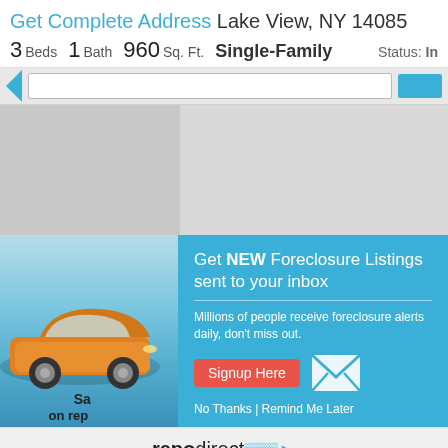Get Complete Address Lake View, NY 14085
3 Beds 1 Bath 960 Sq. Ft. Single-Family Status: In
[Figure (screenshot): Navigation bar with blue arrow, search box, and blue button]
[Figure (photo): Gray placeholder photo area for property listing]
[Figure (infographic): Advertisement showing orange car with text 'Save on repo' and repodirect branding]
[Figure (infographic): Popup overlay on teal background: Get NEW Foreclosure Listings sent to your inbox. Millions of people receive foreclosure alerts daily, don't miss out. Signup Here button. No Thanks | Remind Me Later]
repodirect